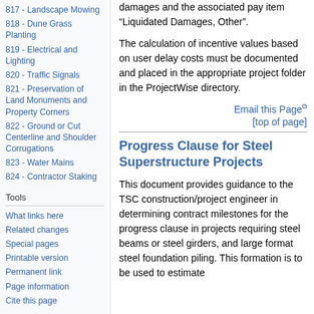817 - Landscape Mowing
818 - Dune Grass Planting
819 - Electrical and Lighting
820 - Traffic Signals
821 - Preservation of Land Monuments and Property Corners
822 - Ground or Cut Centerline and Shoulder Corrugations
823 - Water Mains
824 - Contractor Staking
Tools
What links here
Related changes
Special pages
Printable version
Permanent link
Page information
Cite this page
damages and the associated pay item “Liquidated Damages, Other”.
The calculation of incentive values based on user delay costs must be documented and placed in the appropriate project folder in the ProjectWise directory.
Email this Page
[top of page]
Progress Clause for Steel Superstructure Projects
This document provides guidance to the TSC construction/project engineer in determining contract milestones for the progress clause in projects requiring steel beams or steel girders, and large format steel foundation piling. This formation is to be used to estimate